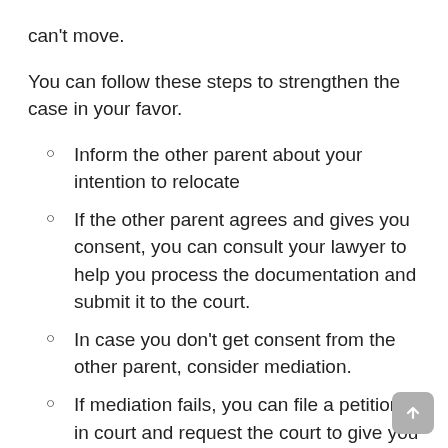can't move.
You can follow these steps to strengthen the case in your favor.
Inform the other parent about your intention to relocate
If the other parent agrees and gives you consent, you can consult your lawyer to help you process the documentation and submit it to the court.
In case you don't get consent from the other parent, consider mediation.
If mediation fails, you can file a petition in court and request the court to give you a permit.
It can feel frustrating and a violation of your free will